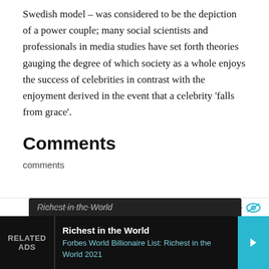Swedish model – was considered to be the depiction of a power couple; many social scientists and professionals in media studies have set forth theories gauging the degree of which society as a whole enjoys the success of celebrities in contrast with the enjoyment derived in the event that a celebrity 'falls from grace'.
Comments
comments
Sponsored Results For: "Behind the Scenes of the Tig..."
Richest in the World
RELATED ADS
Richest in the World
Forbes World Billionaire List: Richest in the World 2021